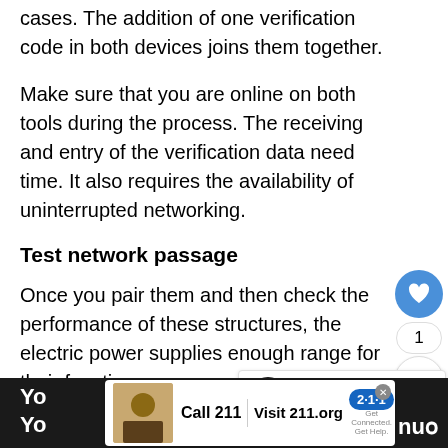cases. The addition of one verification code in both devices joins them together.
Make sure that you are online on both tools during the process. The receiving and entry of the verification data need time. It also requires the availability of uninterrupted networking.
Test network passage
Once you pair them and then check the performance of these structures, the electric power supplies enough range for their functions.
[Figure (infographic): Ad banner: Call 211 | Visit 211.org with 2-1-1 badge logo]